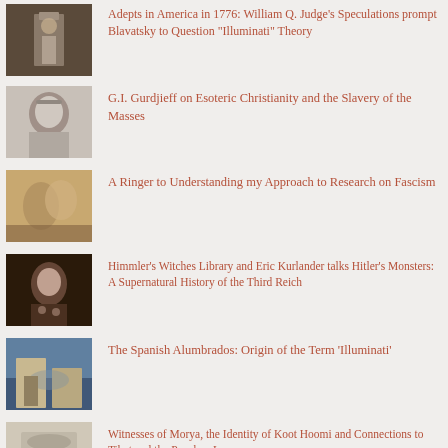Adepts in America in 1776: William Q. Judge's Speculations prompt Blavatsky to Question "Illuminati" Theory
G.I. Gurdjieff on Esoteric Christianity and the Slavery of the Masses
A Ringer to Understanding my Approach to Research on Fascism
Himmler's Witches Library and Eric Kurlander talks Hitler's Monsters: A Supernatural History of the Third Reich
The Spanish Alumbrados: Origin of the Term 'Illuminati'
Witnesses of Morya, the Identity of Koot Hoomi and Connections to Tibet and the Panchen Lama
Solace and Inspiration in Gustav Mahler's "Symphony of a Thousand"